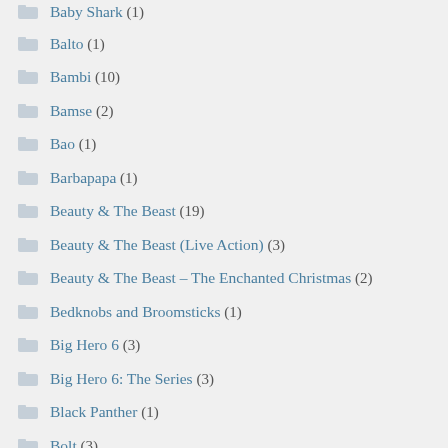Baby Shark (1)
Balto (1)
Bambi (10)
Bamse (2)
Bao (1)
Barbapapa (1)
Beauty & The Beast (19)
Beauty & The Beast (Live Action) (3)
Beauty & The Beast – The Enchanted Christmas (2)
Bedknobs and Broomsticks (1)
Big Hero 6 (3)
Big Hero 6: The Series (3)
Black Panther (1)
Bolt (3)